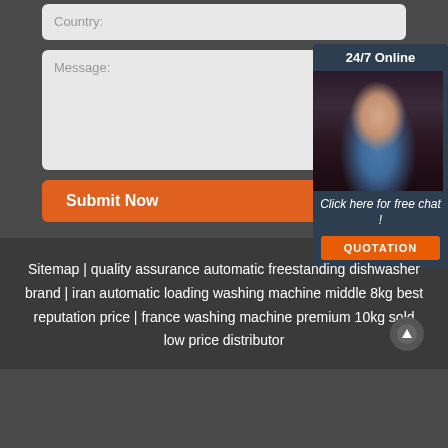Country:
Message:
[Figure (illustration): 24/7 Online chat widget showing a woman with headset, with 'Click here for free chat!' text and an orange QUOTATION button]
Submit Now
Sitemap | quality assurance automatic freestanding dishwasher brand | iran automatic loading washing machine middle 8kg best reputation price | france washing machine premium 10kg sold low price distributor